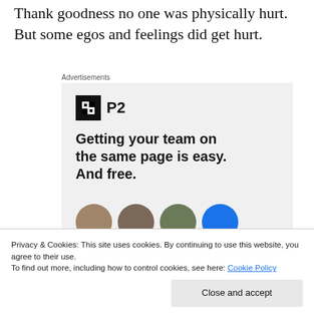Thank goodness no one was physically hurt. But some egos and feelings did get hurt.
[Figure (other): Advertisement banner for P2 product. Shows P2 logo (letter H in black square followed by 'P2' text), headline 'Getting your team on the same page is easy. And free.' with four avatar circles at the bottom (three photo avatars and one blue circle).]
Privacy & Cookies: This site uses cookies. By continuing to use this website, you agree to their use.
To find out more, including how to control cookies, see here: Cookie Policy
asked if his older brother had worst behavior than him. I